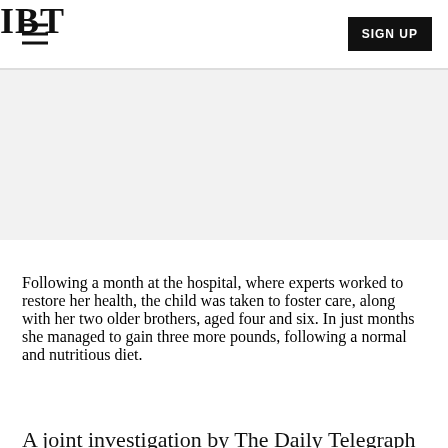IBT
Following a month at the hospital, where experts worked to restore her health, the child was taken to foster care, along with her two older brothers, aged four and six. In just months she managed to gain three more pounds, following a normal and nutritious diet.
A joint investigation by The Daily Telegraph and